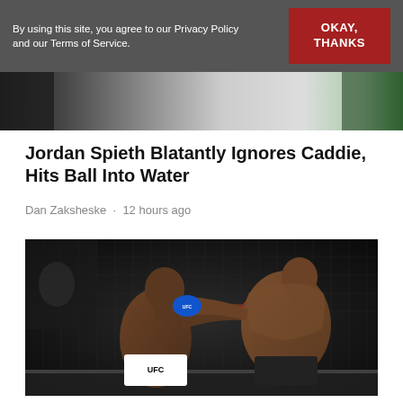By using this site, you agree to our Privacy Policy and our Terms of Service.
OKAY, THANKS
[Figure (photo): Partial top image strip showing part of a scene, cropped at top]
Jordan Spieth Blatantly Ignores Caddie, Hits Ball Into Water
Dan Zaksheske · 12 hours ago
[Figure (photo): Two UFC fighters exchanging punches in an octagon. The fighter on the left is throwing a punch while the fighter on the right is punching the other in the face. Both wear UFC gloves.]